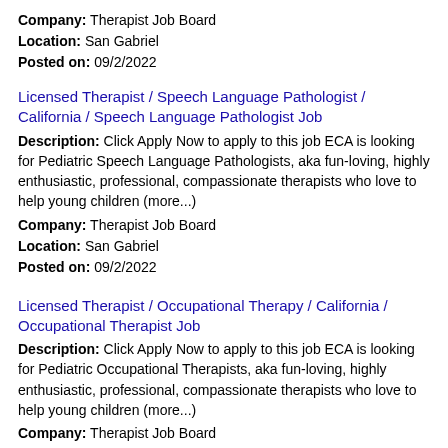Company: Therapist Job Board
Location: San Gabriel
Posted on: 09/2/2022
Licensed Therapist / Speech Language Pathologist / California / Speech Language Pathologist Job
Description: Click Apply Now to apply to this job ECA is looking for Pediatric Speech Language Pathologists, aka fun-loving, highly enthusiastic, professional, compassionate therapists who love to help young children (more...)
Company: Therapist Job Board
Location: San Gabriel
Posted on: 09/2/2022
Licensed Therapist / Occupational Therapy / California / Occupational Therapist Job
Description: Click Apply Now to apply to this job ECA is looking for Pediatric Occupational Therapists, aka fun-loving, highly enthusiastic, professional, compassionate therapists who love to help young children (more...)
Company: Therapist Job Board
Location: Rosemead
Posted on: 09/2/2022